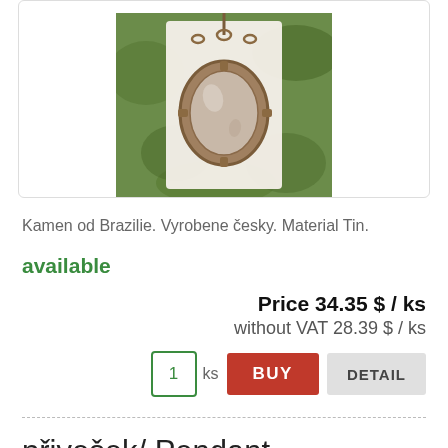[Figure (photo): Photo of a pendant/jewel with a round gemstone in a metal setting, hanging against a green leafy background. The image is shown inside a white rounded-corner card.]
Kamen od Brazilie. Vyrobene česky. Material Tin.
available
Price 34.35 $ / ks
without VAT 28.39 $ / ks
1 ks  BUY  DETAIL
přivešek/ Pendant